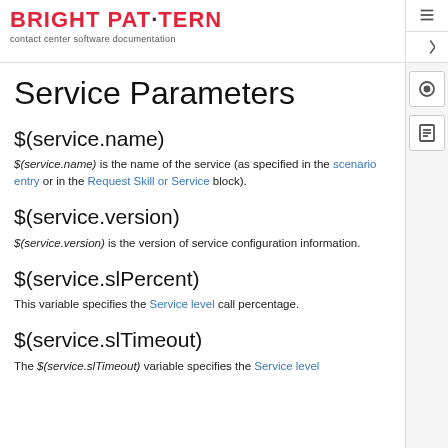BRIGHT PAT·TERN — contact center software documentation
Service Parameters
$(service.name)
$(service.name) is the name of the service (as specified in the scenario entry or in the Request Skill or Service block).
$(service.version)
$(service.version) is the version of service configuration information.
$(service.slPercent)
This variable specifies the Service level call percentage.
$(service.slTimeout)
The $(service.slTimeout) variable specifies the Service level